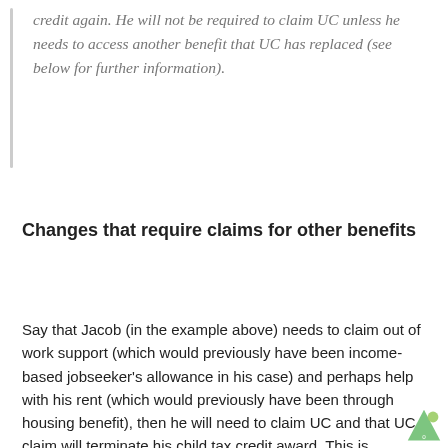credit again. He will not be required to claim UC unless he needs to access another benefit that UC has replaced (see below for further information).
Changes that require claims for other benefits
Say that Jacob (in the example above) needs to claim out of work support (which would previously have been income-based jobseeker's allowance in his case) and perhaps help with his rent (which would previously have been through housing benefit), then he will need to claim UC and that UC claim will terminate his child tax credit award. This is because he needs to make a